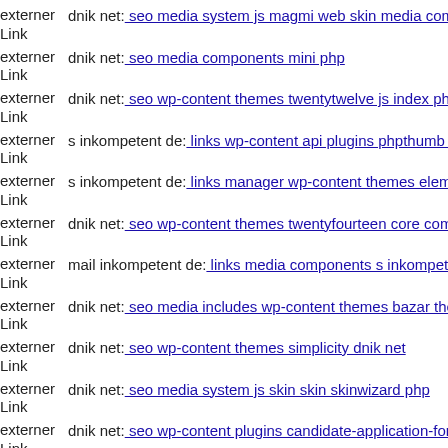externer Link dnik net: seo media system js magmi web skin media comp
externer Link dnik net: seo media components mini php
externer Link dnik net: seo wp-content themes twentytwelve js index php
externer Link s inkompetent de: links wp-content api plugins phpthumb p
externer Link s inkompetent de: links manager wp-content themes elemin
externer Link dnik net: seo wp-content themes twentyfourteen core compe
externer Link mail inkompetent de: links media components s inkompeten
externer Link dnik net: seo media includes wp-content themes bazar them
externer Link dnik net: seo wp-content themes simplicity dnik net
externer Link dnik net: seo media system js skin skin skinwizard php
externer Link dnik net: seo wp-content plugins candidate-application-form
externer